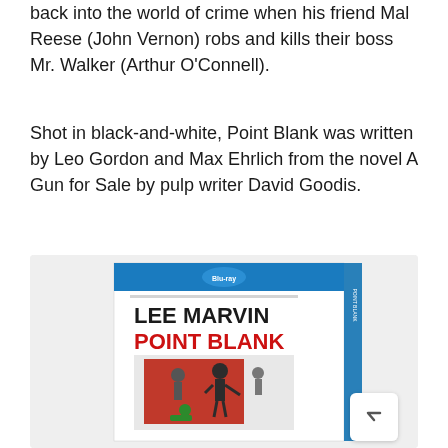back into the world of crime when his friend Mal Reese (John Vernon) robs and kills their boss Mr. Walker (Arthur O'Connell).
Shot in black-and-white, Point Blank was written by Leo Gordon and Max Ehrlich from the novel A Gun for Sale by pulp writer David Goodis.
[Figure (photo): Blu-ray disc case for 'Point Blank' featuring Lee Marvin. The case has a blue spine on the right, white background with 'LEE MARVIN' in black bold text and 'POINT BLANK' in red bold text. Below is movie artwork showing figures in action poses against a red square background.]